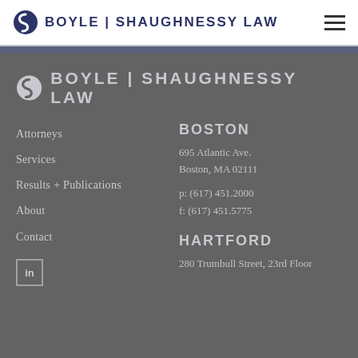BOYLE | SHAUGHNESSY LAW
[Figure (logo): Boyle Shaughnessy Law logo in header - circular S icon with firm name]
Attorneys
Services
Results + Publications
About
Contact
[Figure (logo): Boyle Shaughnessy Law logo in footer - circular S icon with firm name in light color]
BOSTON
695 Atlantic Ave.
Boston, MA 02111
p: (617) 451.2000
f: (617) 451.5775
HARTFORD
280 Trumbull Street, 23rd Floor